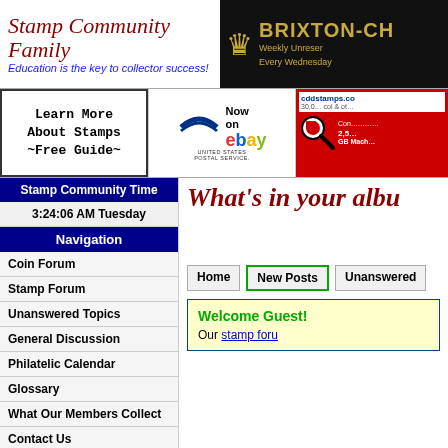[Figure (logo): Stamp Community Family logo with cursive text and tagline]
[Figure (logo): Brixton-Ch banner with crown icon on black background]
[Figure (screenshot): Learn More About Stamps Free Guide advertisement]
[Figure (logo): United States Postal Service Now on eBay advertisement]
[Figure (screenshot): cddstamps.com advertisement with magnifying glass]
Stamp Community Time
3:24:06 AM Tuesday
Navigation
Coin Forum
Stamp Forum
Unanswered Topics
General Discussion
Philatelic Calendar
Glossary
What Our Members Collect
Contact Us
Advertise Here
SCF Reccomended
What's in your albu
Home | New Posts | Unanswered
Welcome Guest! Our stamp foru